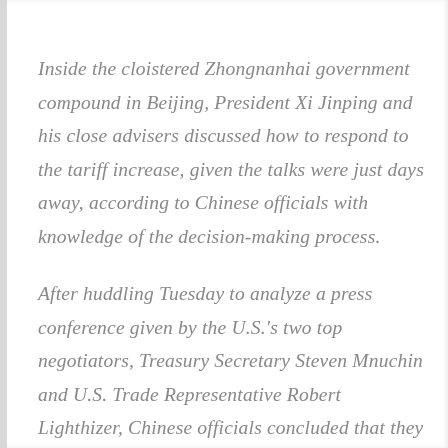Inside the cloistered Zhongnanhai government compound in Beijing, President Xi Jinping and his close advisers discussed how to respond to the tariff increase, given the talks were just days away, according to Chinese officials with knowledge of the decision-making process.
After huddling Tuesday to analyze a press conference given by the U.S.'s two top negotiators, Treasury Secretary Steven Mnuchin and U.S. Trade Representative Robert Lighthizer, Chinese officials concluded that they should travel to at least